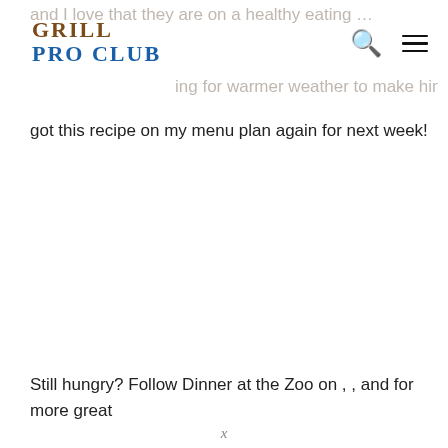GRILL PRO CLUB
got this recipe on my menu plan again for next week!
Still hungry? Follow Dinner at the Zoo on , , and for more great